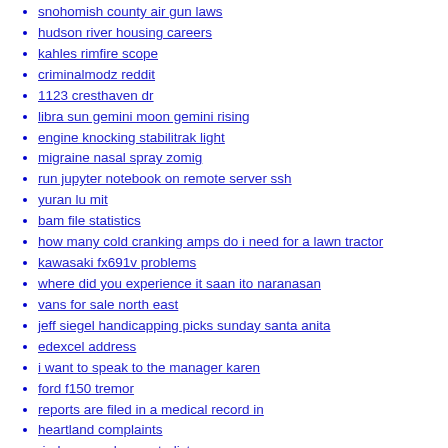snohomish county air gun laws
hudson river housing careers
kahles rimfire scope
criminalmodz reddit
1123 cresthaven dr
libra sun gemini moon gemini rising
engine knocking stabilitrak light
migraine nasal spray zomig
run jupyter notebook on remote server ssh
yuran lu mit
bam file statistics
how many cold cranking amps do i need for a lawn tractor
kawasaki fx691v problems
where did you experience it saan ito naranasan
vans for sale north east
jeff siegel handicapping picks sunday santa anita
edexcel address
i want to speak to the manager karen
ford f150 tremor
reports are filed in a medical record in
heartland complaints
rindou x reader masterlist
market cipher review
ufc gym in doral
elden ring digital soundtrack